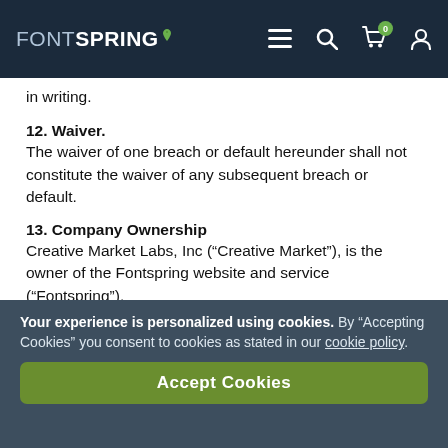FONTSPRING [navigation bar with menu, search, cart (0), account icons]
in writing.
12. Waiver.
The waiver of one breach or default hereunder shall not constitute the waiver of any subsequent breach or default.
13. Company Ownership
Creative Market Labs, Inc (“Creative Market”), is the owner of the Fontspring website and service (“Fontspring”).
Your experience is personalized using cookies. By “Accepting Cookies” you consent to cookies as stated in our cookie policy.
Accept Cookies